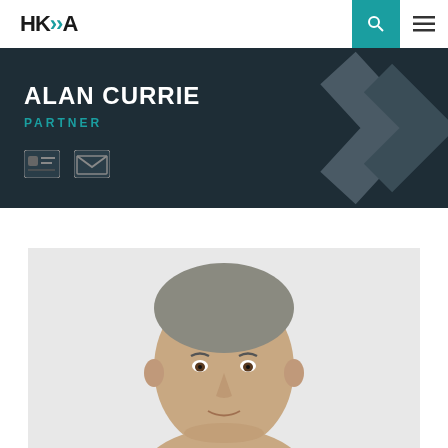HK>A
ALAN CURRIE
PARTNER
[Figure (photo): Professional headshot of Alan Currie, a middle-aged man with short grey hair, on a light grey background]